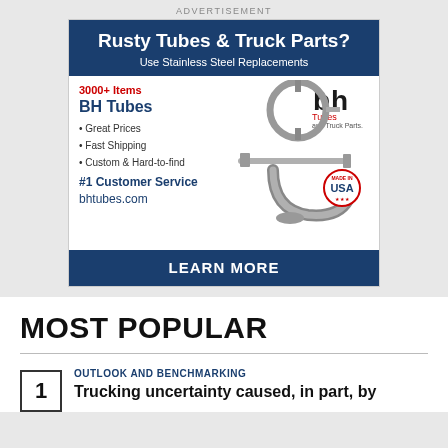ADVERTISEMENT
[Figure (infographic): Advertisement for BH Tubes and Truck Parts featuring stainless steel replacements. Blue header with 'Rusty Tubes & Truck Parts? Use Stainless Steel Replacements', white body with '3000+ Items', 'BH Tubes', bullet points for Great Prices, Fast Shipping, Custom & Hard-to-find, '#1 Customer Service', 'bhtubes.com', image of metal tubes and clamps, 'Made in USA' badge, blue footer 'LEARN MORE']
MOST POPULAR
OUTLOOK AND BENCHMARKING
Trucking uncertainty caused, in part, by